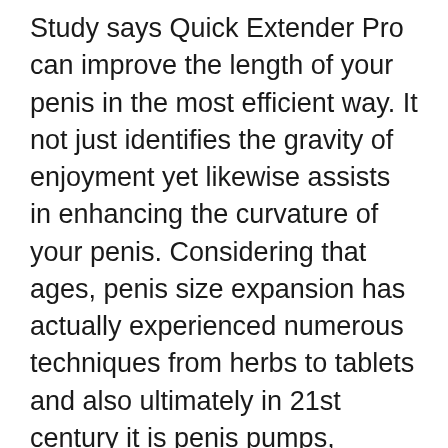Study says Quick Extender Pro can improve the length of your penis in the most efficient way. It not just identifies the gravity of enjoyment yet likewise assists in enhancing the curvature of your penis. Considering that ages, penis size expansion has actually experienced numerous techniques from herbs to tablets and also ultimately in 21st century it is penis pumps, supplements and mechanical extenders. While there are lots of surgical treatments that could complete the outcome, that would certainly take the danger of putting scalpel on the penis?
Quick extender Pro is also referred to as an enchanting device to expand the penis. While it looks like magic the authentic science behind this item will make you forget